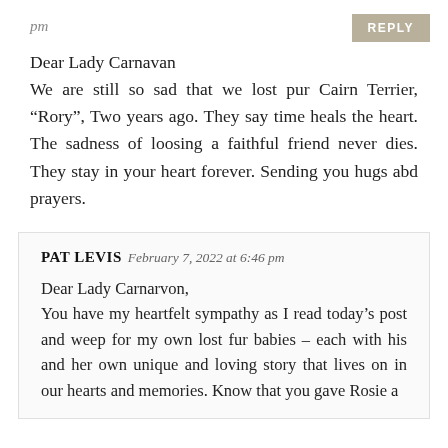pm
Dear Lady Carnavan
We are still so sad that we lost pur Cairn Terrier, “Rory”, Two years ago. They say time heals the heart. The sadness of loosing a faithful friend never dies. They stay in your heart forever. Sending you hugs abd prayers.
REPLY
PAT LEVIS  February 7, 2022 at 6:46 pm
Dear Lady Carnarvon,
You have my heartfelt sympathy as I read today’s post and weep for my own lost fur babies – each with his and her own unique and loving story that lives on in our hearts and memories. Know that you gave Rosie a